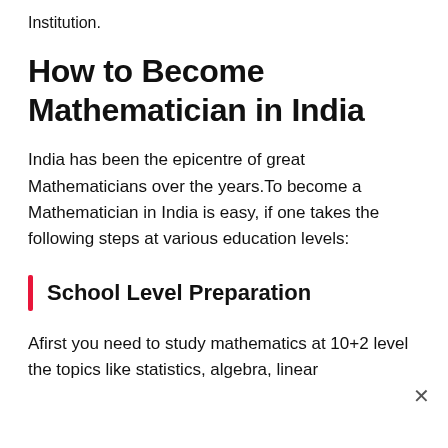Institution.
How to Become Mathematician in India
India has been the epicentre of great Mathematicians over the years.To become a Mathematician in India is easy, if one takes the following steps at various education levels:
School Level Preparation
Afirst you need to study mathematics at 10+2 level the topics like statistics, algebra, linear